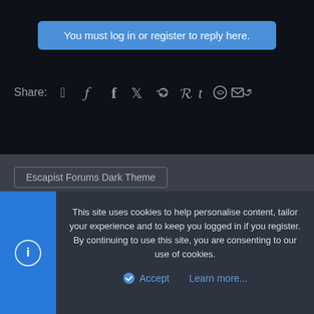You must log in or register to reply here.
Share: (social icons: Facebook, Twitter, Reddit, Pinterest, Tumblr, WhatsApp, Email, Link)
Escapist Forums Dark Theme
Terms and rules  Privacy policy  Help  Home
Forum software by XenForo® © 2010-2020 XenForo Ltd. | Style and add-ons by ThemeHouse
This site uses cookies to help personalise content, tailor your experience and to keep you logged in if you register.
By continuing to use this site, you are consenting to our use of cookies.
Accept   Learn more...